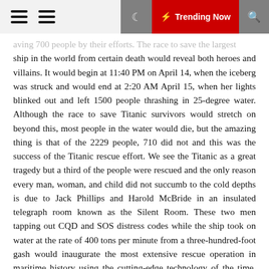Trending Now
aving 700 people by their efforts. The race to save the largest ship in the world from certain death would reveal both heroes and villains. It would begin at 11:40 PM on April 14, when the iceberg was struck and would end at 2:20 AM April 15, when her lights blinked out and left 1500 people thrashing in 25-degree water. Although the race to save Titanic survivors would stretch on beyond this, most people in the water would die, but the amazing thing is that of the 2229 people, 710 did not and this was the success of the Titanic rescue effort. We see the Titanic as a great tragedy but a third of the people were rescued and the only reason every man, woman, and child did not succumb to the cold depths is due to Jack Phillips and Harold McBride in an insulated telegraph room known as the Silent Room. These two men tapping out CQD and SOS distress codes while the ship took on water at the rate of 400 tons per minute from a three-hundred-foot gash would inaugurate the most extensive rescue operation in maritime history using the cutting-edge technology of the time, wireless.
Unsinkable